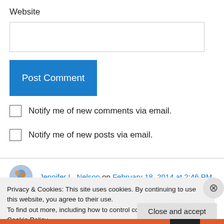Website
[Figure (other): Text input field for website URL]
[Figure (other): Post Comment button (blue)]
Notify me of new comments via email.
Notify me of new posts via email.
Jennifer L. Nelson on February 18, 2014 at 2:46 PM
Privacy & Cookies: This site uses cookies. By continuing to use this website, you agree to their use.
To find out more, including how to control cookies, see here: Cookie Policy
Close and accept